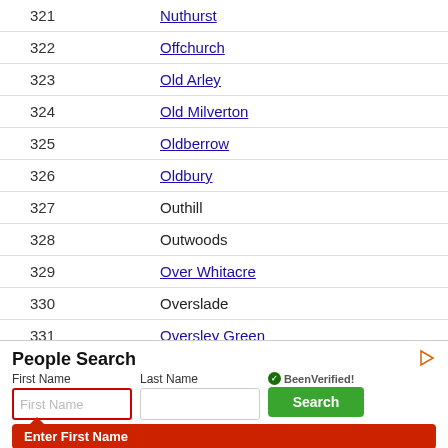| # | Name |
| --- | --- |
| 321 | Nuthurst |
| 322 | Offchurch |
| 323 | Old Arley |
| 324 | Old Milverton |
| 325 | Oldberrow |
| 326 | Oldbury |
| 327 | Outhill |
| 328 | Outwoods |
| 329 | Over Whitacre |
| 330 | Overslade |
| 331 | Oversley Green |
| 332 | Oxford Canal |
| 333 | Oxhill |
[Figure (infographic): People Search advertisement panel with First Name and Last Name input fields, BeenVerified logo, Search button, and Enter First Name prompt button.]